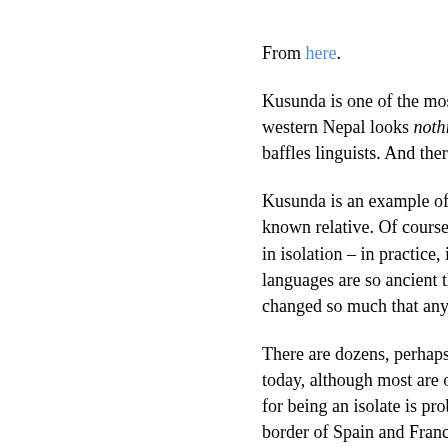From here.
Kusunda is one of the most enigm... western Nepal looks nothing like a... baffles linguists. And there's only o...
Kusunda is an example of a langu... known relative. Of course, this pro... in isolation – in practice, it means... languages are so ancient that its r... changed so much that any links a...
There are dozens, perhaps hundr... today, although most are on the v... for being an isolate is probably the... border of Spain and France. That... utterly dwarfed by the 78 million s... isolate: Korean.
As such, language isolate status i... but things are looking very grim in... of hunter-gathers in western Nepa... and it wasn't until 2004 that linguisi...